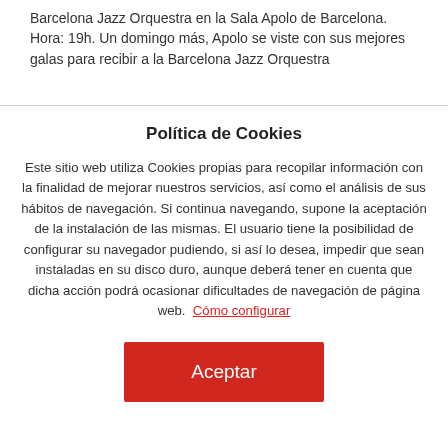Barcelona Jazz Orquestra en la Sala Apolo de Barcelona. Hora: 19h. Un domingo más, Apolo se viste con sus mejores galas para recibir a la Barcelona Jazz Orquestra
Política de Cookies
Este sitio web utiliza Cookies propias para recopilar información con la finalidad de mejorar nuestros servicios, así como el análisis de sus hábitos de navegación. Si continua navegando, supone la aceptación de la instalación de las mismas. El usuario tiene la posibilidad de configurar su navegador pudiendo, si así lo desea, impedir que sean instaladas en su disco duro, aunque deberá tener en cuenta que dicha acción podrá ocasionar dificultades de navegación de página web.  Cómo configurar
Aceptar